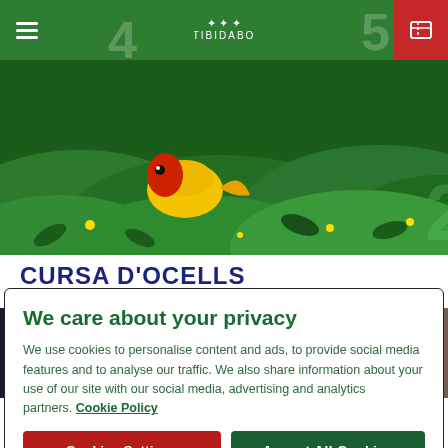TIBIDABO
[Figure (photo): Colorful animated illustration with a bird (yellow and red) on rolling green hills with tropical leaves and small flowers — Tibidabo theme park attraction image for Cursa d'Ocells]
CURSA D'OCELLS
[Figure (photo): Blurred photo of a tablet/screen device with bokeh lights in background]
We care about your privacy
We use cookies to personalise content and ads, to provide social media features and to analyse our traffic. We also share information about your use of our site with our social media, advertising and analytics partners. Cookie Policy
Cookies Settings
Accept All Cookies